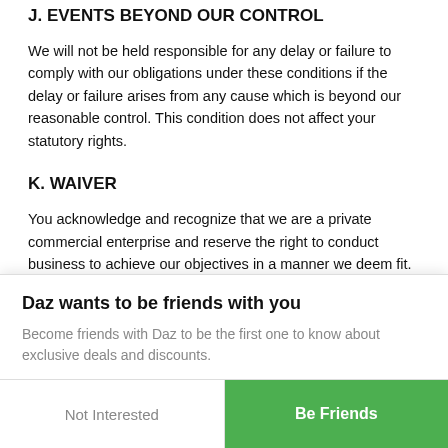J. EVENTS BEYOND OUR CONTROL
We will not be held responsible for any delay or failure to comply with our obligations under these conditions if the delay or failure arises from any cause which is beyond our reasonable control. This condition does not affect your statutory rights.
K. WAIVER
You acknowledge and recognize that we are a private commercial enterprise and reserve the right to conduct business to achieve our objectives in a manner we deem fit. You also acknowledge that if you breach the conditions stated on our Site and we take no action
Daz wants to be friends with you
Become friends with Daz to be the first one to know about exclusive deals and discounts.
Not Interested
Be Friends